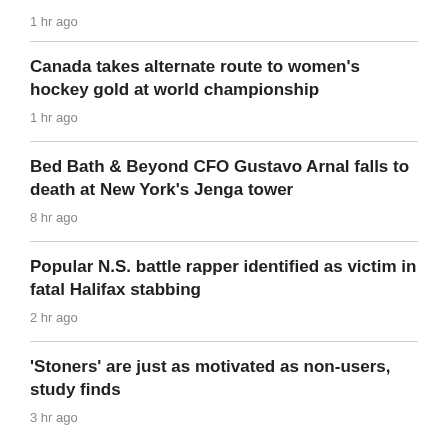1 hr ago
Canada takes alternate route to women's hockey gold at world championship
1 hr ago
Bed Bath & Beyond CFO Gustavo Arnal falls to death at New York's Jenga tower
8 hr ago
Popular N.S. battle rapper identified as victim in fatal Halifax stabbing
2 hr ago
'Stoners' are just as motivated as non-users, study finds
3 hr ago